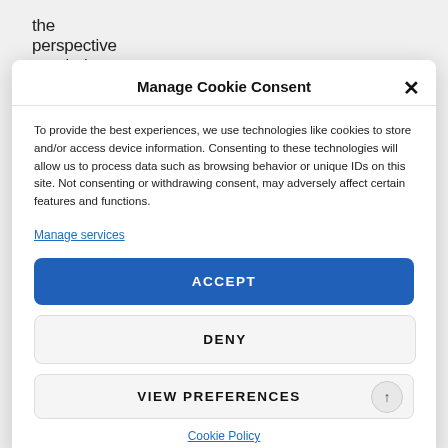the perspective needed to envisage a safer life
Manage Cookie Consent
To provide the best experiences, we use technologies like cookies to store and/or access device information. Consenting to these technologies will allow us to process data such as browsing behavior or unique IDs on this site. Not consenting or withdrawing consent, may adversely affect certain features and functions.
Manage services
ACCEPT
DENY
VIEW PREFERENCES
Cookie Policy